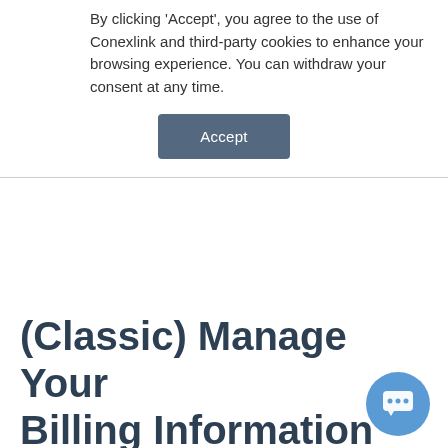By clicking 'Accept', you agree to the use of Conexlink and third-party cookies to enhance your browsing experience. You can withdraw your consent at any time.
Accept
(Classic) Manage Your Billing Information
Billing can be accessed on the top right of the MyCloudIT platform. You can access a summary report statements, payment details, transaction history, and Azure